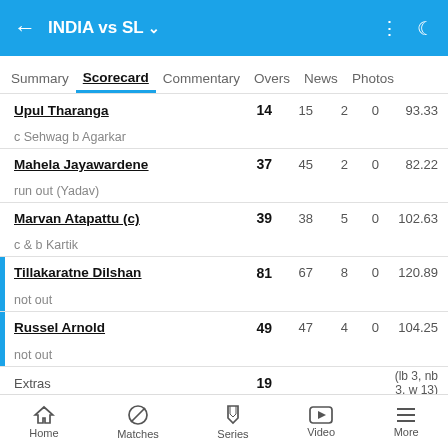INDIA vs SL
Summary  Scorecard  Commentary  Overs  News  Photos
| Player | R | B | 4s | 6s | SR |
| --- | --- | --- | --- | --- | --- |
| Upul Tharanga | 14 | 15 | 2 | 0 | 93.33 |
| c Sehwag b Agarkar |  |  |  |  |  |
| Mahela Jayawardene | 37 | 45 | 2 | 0 | 82.22 |
| run out (Yadav) |  |  |  |  |  |
| Marvan Atapattu (c) | 39 | 38 | 5 | 0 | 102.63 |
| c & b Kartik |  |  |  |  |  |
| Tillakaratne Dilshan | 81 | 67 | 8 | 0 | 120.89 |
| not out |  |  |  |  |  |
| Russel Arnold | 49 | 47 | 4 | 0 | 104.25 |
| not out |  |  |  |  |  |
| Extras | 19 |  |  |  | (lb 3, nb 3, w 13) |
| TOTAL | 226/5 |  |  |  | 47.4 O |
Home  Matches  Series  Video  More